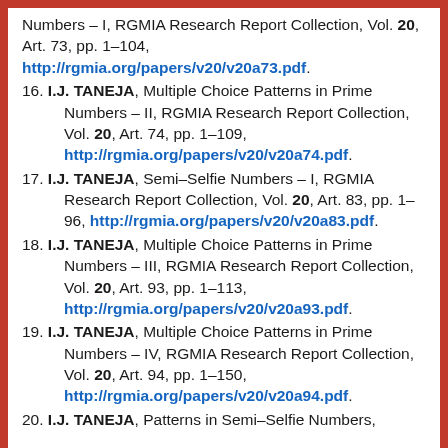Numbers – I, RGMIA Research Report Collection, Vol. 20, Art. 73, pp. 1–104, http://rgmia.org/papers/v20/v20a73.pdf.
16. I.J. TANEJA, Multiple Choice Patterns in Prime Numbers – II, RGMIA Research Report Collection, Vol. 20, Art. 74, pp. 1–109, http://rgmia.org/papers/v20/v20a74.pdf.
17. I.J. TANEJA, Semi-Selfie Numbers – I, RGMIA Research Report Collection, Vol. 20, Art. 83, pp. 1–96, http://rgmia.org/papers/v20/v20a83.pdf.
18. I.J. TANEJA, Multiple Choice Patterns in Prime Numbers – III, RGMIA Research Report Collection, Vol. 20, Art. 93, pp. 1–113, http://rgmia.org/papers/v20/v20a93.pdf.
19. I.J. TANEJA, Multiple Choice Patterns in Prime Numbers – IV, RGMIA Research Report Collection, Vol. 20, Art. 94, pp. 1–150, http://rgmia.org/papers/v20/v20a94.pdf.
20. I.J. TANEJA, Patterns in Semi-Selfie Numbers,